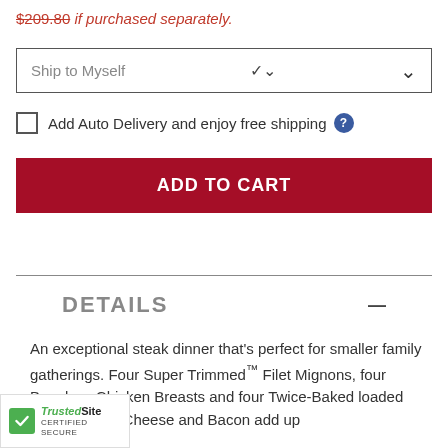$209.80 if purchased separately.
Ship to Myself
Add Auto Delivery and enjoy free shipping
ADD TO CART
DETAILS
An exceptional steak dinner that's perfect for smaller family gatherings. Four Super Trimmed™ Filet Mignons, four Boneless Chicken Breasts and four Twice-Baked loaded with Cheddar Cheese and Bacon add up